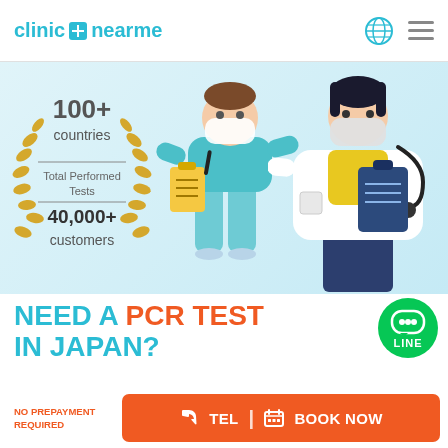clinic + nearme
[Figure (illustration): Hero banner with light blue background showing two illustrated characters wearing masks: a person in a teal shirt holding a yellow clipboard, and a doctor in white coat holding a dark blue clipboard with a stethoscope. Left side shows award laurel badge with text '100+ countries', 'Total Performed Tests', '40,000+', 'customers'.]
countries
Total Performed Tests
40,000+
customers
NEED A PCR TEST IN JAPAN?
NO PREPAYMENT REQUIRED
TEL | BOOK NOW